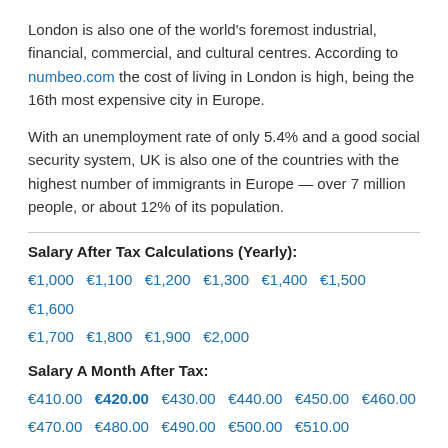London is also one of the world's foremost industrial, financial, commercial, and cultural centres. According to numbeo.com the cost of living in London is high, being the 16th most expensive city in Europe.
With an unemployment rate of only 5.4% and a good social security system, UK is also one of the countries with the highest number of immigrants in Europe — over 7 million people, or about 12% of its population.
Salary After Tax Calculations (Yearly):
€1,000  €1,100  €1,200  €1,300  €1,400  €1,500  €1,600  €1,700  €1,800  €1,900  €2,000
Salary A Month After Tax:
€410.00  €420.00  €430.00  €440.00  €450.00  €460.00  €470.00  €480.00  €490.00  €500.00  €510.00